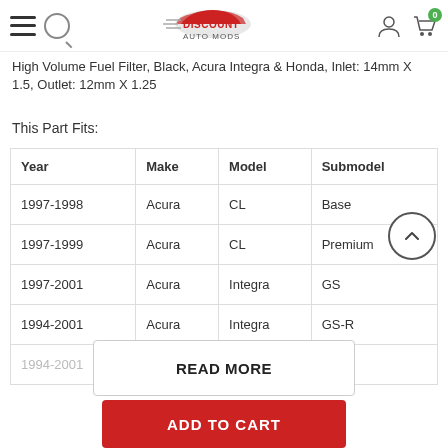Discount Auto Mods — Navigation header with hamburger, search, logo, user icon, cart (0)
High Volume Fuel Filter, Black, Acura Integra & Honda, Inlet: 14mm X 1.5, Outlet: 12mm X 1.25
This Part Fits:
| Year | Make | Model | Submodel |
| --- | --- | --- | --- |
| 1997-1998 | Acura | CL | Base |
| 1997-1999 | Acura | CL | Premium |
| 1997-2001 | Acura | Integra | GS |
| 1994-2001 | Acura | Integra | GS-R |
| 1994-2001 | Acura | Integra | LS |
READ MORE
ADD TO CART